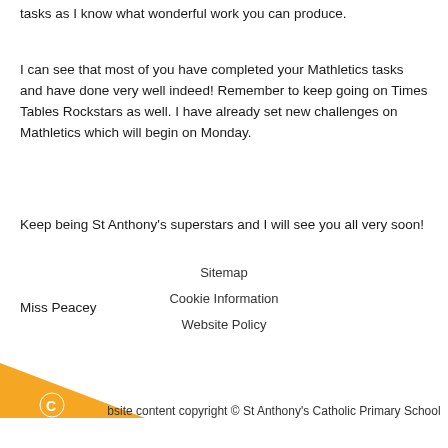tasks as I know what wonderful work you can produce.
I can see that most of you have completed your Mathletics tasks and have done very well indeed!  Remember to keep going on Times Tables Rockstars as well.  I have already set new challenges on Mathletics which will begin on Monday.
Keep being St Anthony's superstars and I will see you all very soon!
Miss Peacey
Sitemap
Cookie Information
Website Policy
bsite content copyright © St Anthony's Catholic Primary School